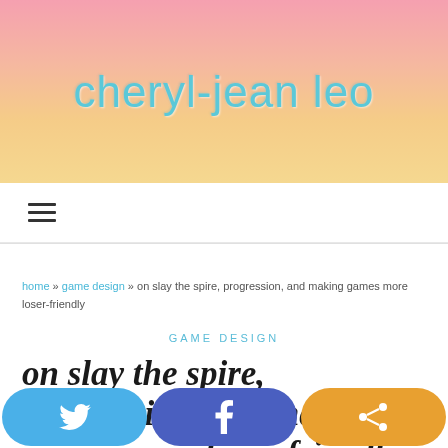cheryl-jean leo
[Figure (screenshot): Navigation hamburger menu icon (three horizontal lines)]
home » game design » on slay the spire, progression, and making games more loser-friendly
GAME DESIGN
on slay the spire, progression, and making games more loser-friendly